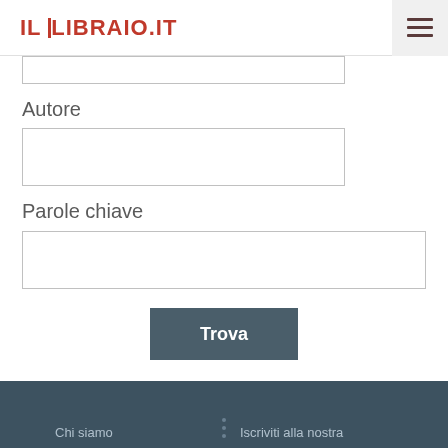IL LIBRAIO.IT
Autore
Parole chiave
Trova
Chi siamo   Iscriviti alla nostra